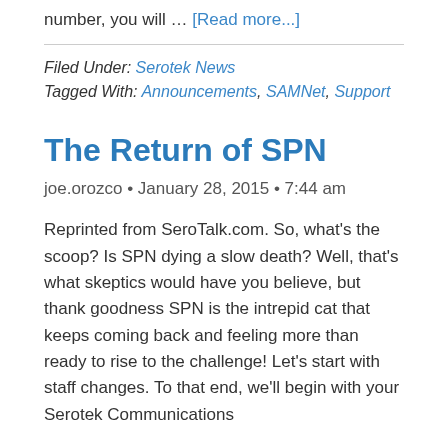number, you will … [Read more...]
Filed Under: Serotek News
Tagged With: Announcements, SAMNet, Support
The Return of SPN
joe.orozco • January 28, 2015 • 7:44 am
Reprinted from SeroTalk.com. So, what's the scoop? Is SPN dying a slow death? Well, that's what skeptics would have you believe, but thank goodness SPN is the intrepid cat that keeps coming back and feeling more than ready to rise to the challenge! Let's start with staff changes. To that end, we'll begin with your Serotek Communications